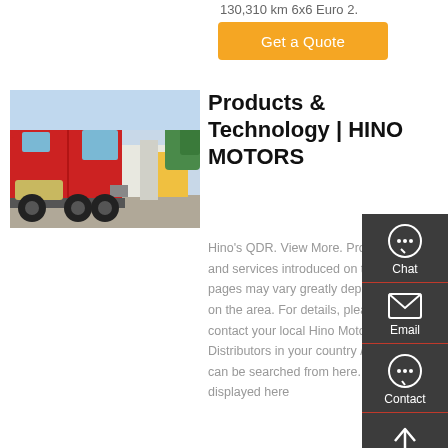130,310 km 6x6 Euro 2.
Get a Quote
[Figure (photo): Red Hino truck tractor unit parked outdoors, side/front view, with other vehicles in background.]
Products & Technology | HINO MOTORS
Hino's QDR. View More. Products and services introduced on these pages may vary greatly depending on the area. For details, please contact your local Hino Motor dealer. Distributors in your country / region can be searched from here. Images displayed here
[Figure (infographic): Dark sidebar with Chat, Email, Contact, and Top navigation icons.]